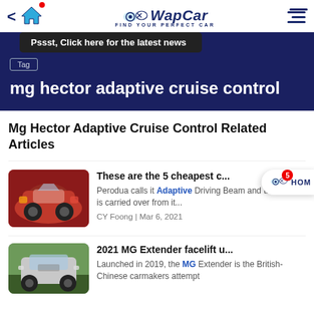WapCar — FIND YOUR PERFECT CAR
Pssst, Click here for the latest news
Tag
mg hector adaptive cruise control
Mg Hector Adaptive Cruise Control Related Articles
These are the 5 cheapest c...
Perodua calls it Adaptive Driving Beam and this feature is carried over from it...
CY Foong | Mar 6, 2021
2021 MG Extender facelift u...
Launched in 2019, the MG Extender is the British-Chinese carmakers attempt